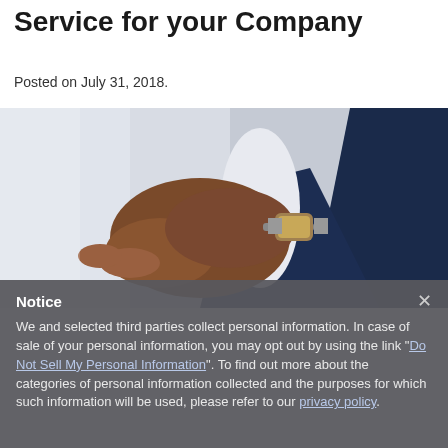Service for your Company
Posted on July 31, 2018.
[Figure (photo): Close-up photo of a man in a dark navy suit checking his watch, showing his hands and wrist with a silver watch.]
Notice

We and selected third parties collect personal information. In case of sale of your personal information, you may opt out by using the link "Do Not Sell My Personal Information". To find out more about the categories of personal information collected and the purposes for which such information will be used, please refer to our privacy policy.